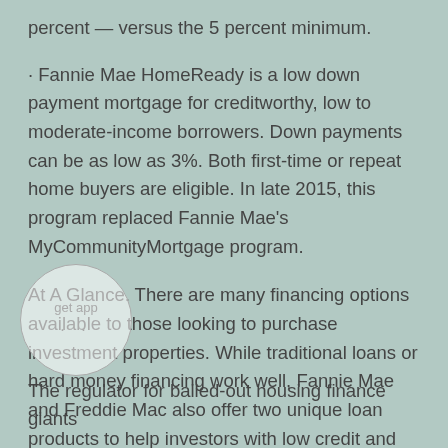percent — versus the 5 percent minimum.
· Fannie Mae HomeReady is a low down payment mortgage for creditworthy, low to moderate-income borrowers. Down payments can be as low as 3%. Both first-time or repeat home buyers are eligible. In late 2015, this program replaced Fannie Mae's MyCommunityMortgage program.
At A Glance. There are many financing options available to those looking to purchase investment properties. While traditional loans or hard money financing work well, Fannie Mae and Freddie Mac also offer two unique loan products to help investors with low credit and low savings get approved for financing.
The regulator for bailed-out housing finance giants